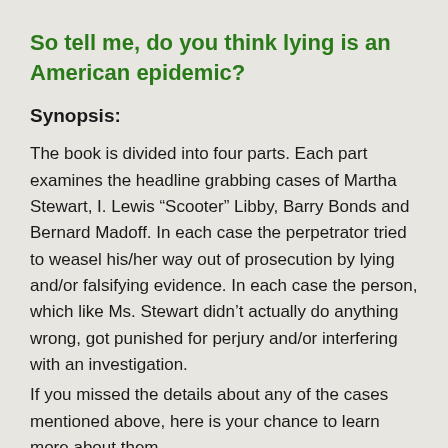So tell me, do you think lying is an American epidemic?
Synopsis:
The book is divided into four parts. Each part examines the headline grabbing cases of Martha Stewart, I. Lewis “Scooter” Libby, Barry Bonds and Bernard Madoff. In each case the perpetrator tried to weasel his/her way out of prosecution by lying and/or falsifying evidence. In each case the person, which like Ms. Stewart didn’t actually do anything wrong, got punished for perjury and/or interfering with an investigation.
If you missed the details about any of the cases mentioned above, here is your chance to learn more about them.